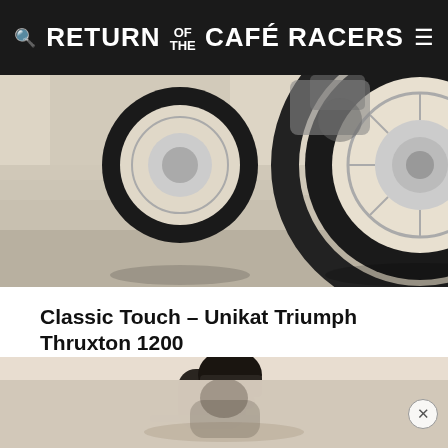RETURN OF THE CAFÉ RACERS
[Figure (photo): Close-up photo of a motorcycle rear wheel and chrome engine components, parked on pale stone/concrete steps surface]
Classic Touch – Unikat Triumph Thruxton 1200
[Figure (photo): Rider in black leather jacket and helmet sitting on a motorcycle, misty/sandy outdoor background]
[Figure (photo): Advertisement banner overlay at bottom of page with a close button (X)]